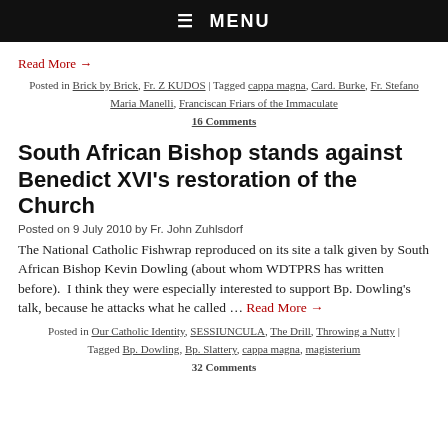☰ MENU
Read More →
Posted in Brick by Brick, Fr. Z KUDOS | Tagged cappa magna, Card. Burke, Fr. Stefano Maria Manelli, Franciscan Friars of the Immaculate
16 Comments
South African Bishop stands against Benedict XVI's restoration of the Church
Posted on 9 July 2010 by Fr. John Zuhlsdorf
The National Catholic Fishwrap reproduced on its site a talk given by South African Bishop Kevin Dowling (about whom WDTPRS has written before).  I think they were especially interested to support Bp. Dowling's talk, because he attacks what he called … Read More →
Posted in Our Catholic Identity, SESSIUNCULA, The Drill, Throwing a Nutty | Tagged Bp. Dowling, Bp. Slattery, cappa magna, magisterium
32 Comments